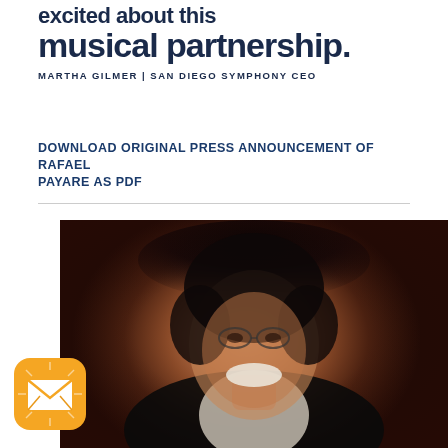excited about this musical partnership.
MARTHA GILMER | SAN DIEGO SYMPHONY CEO
DOWNLOAD ORIGINAL PRESS ANNOUNCEMENT OF RAFAEL PAYARE AS PDF
[Figure (photo): Portrait photo of Rafael Payare, a smiling man with curly dark hair and glasses, wearing a dark suit with white shirt, photographed against a dark reddish background]
[Figure (logo): Orange rounded square icon with a white envelope/mail symbol]